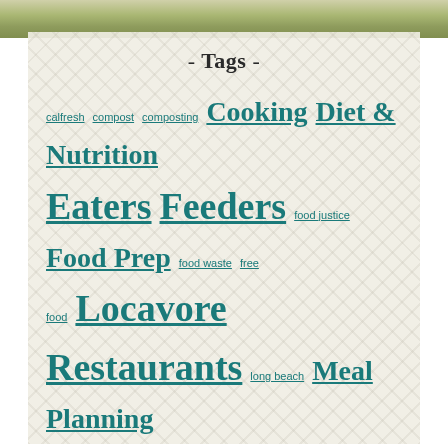- Tags -
calfresh compost composting Cooking Diet & Nutrition Eaters Feeders food justice Food Prep food waste free food Locavore Restaurants long beach Meal Planning micro-business Save Money Save Time Seeders urban agriculture
- Newsletter -
Your email address
Sign up